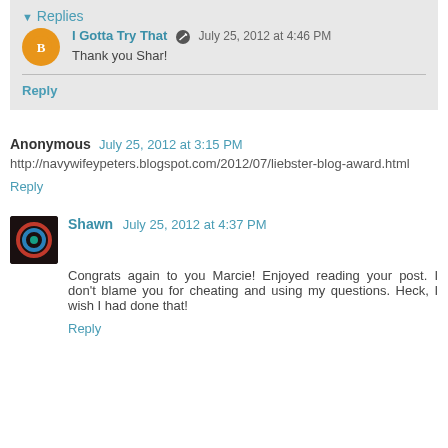Replies
I Gotta Try That  July 25, 2012 at 4:46 PM
Thank you Shar!
Reply
Anonymous  July 25, 2012 at 3:15 PM
http://navywifeypeters.blogspot.com/2012/07/liebster-blog-award.html
Reply
Shawn  July 25, 2012 at 4:37 PM
Congrats again to you Marcie! Enjoyed reading your post. I don't blame you for cheating and using my questions. Heck, I wish I had done that!
Reply